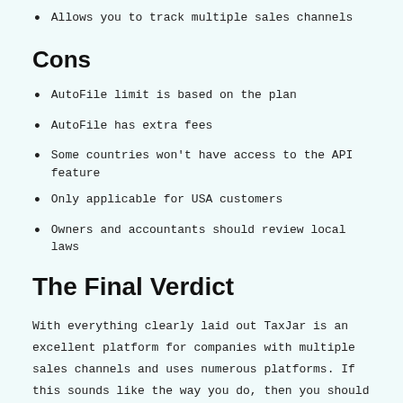Allows you to track multiple sales channels
Cons
AutoFile limit is based on the plan
AutoFile has extra fees
Some countries won't have access to the API feature
Only applicable for USA customers
Owners and accountants should review local laws
The Final Verdict
With everything clearly laid out TaxJar is an excellent platform for companies with multiple sales channels and uses numerous platforms. If this sounds like the way you do, then you should try this.
Other text continues with additional content on next section...